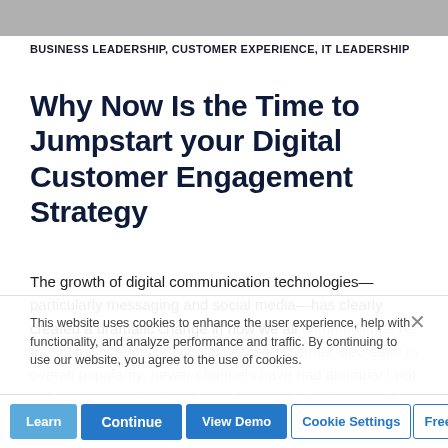[Figure (photo): Partial top image strip, cropped photo visible at top of page]
BUSINESS LEADERSHIP, CUSTOMER EXPERIENCE, IT LEADERSHIP
Why Now Is the Time to Jumpstart your Digital Customer Engagement Strategy
The growth of digital communication technologies—particularly messaging and social media—has clearly created a dramatic change in how we all communicate. As traditional channels , such as voice and email, decrease in overall popularity, newer channels have had an impact not only on communication, but on human behavior as well. That impact goes beyond merely …
This website uses cookies to enhance the user experience, help with functionality, and analyze performance and traffic. By continuing to use our website, you agree to the use of cookies.